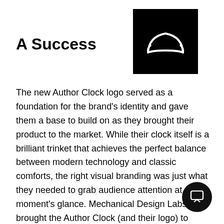[Figure (logo): Black square background with a white croissant/arch icon in the center — Author Clock logo]
A Success
The new Author Clock logo served as a foundation for the brand's identity and gave them a base to build on as they brought their product to the market. While their clock itself is a brilliant trinket that achieves the perfect balance between modern technology and classic comforts, the right visual branding was just what they needed to grab audience attention at a moment's glance. Mechanical Design Labs brought the Author Clock (and their logo) to Kickstarter and have since raised over one million dollars!